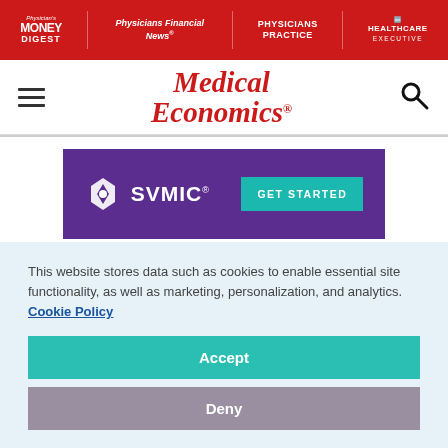Physician's Money Digest | Physicians Financial News | Physicians Practice | Healthcare Executive
[Figure (logo): Medical Economics logo with hamburger menu and search icon]
[Figure (illustration): SVMIC advertisement banner with purple background, SVMIC logo and GET STARTED button]
[Figure (photo): Partial photo strip showing a doctor in blue scrubs on left and a person's face on right]
This website stores data such as cookies to enable essential site functionality, as well as marketing, personalization, and analytics. Cookie Policy
Accept
Deny